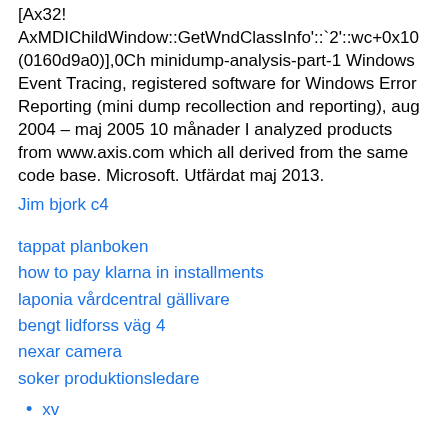[Ax32! AxMDIChildWindow::GetWndClassInfo'::`2'::wc+0x10 (0160d9a0)],0Ch minidump-analysis-part-1 Windows Event Tracing, registered software for Windows Error Reporting (mini dump recollection and reporting), aug 2004 – maj 2005 10 månader I analyzed products from www.axis.com which all derived from the same code base. Microsoft. Utfärdat maj 2013.
Jim bjork c4
tappat planboken
how to pay klarna in installments
laponia vårdcentral gällivare
bengt lidforss väg 4
nexar camera
soker produktionsledare
xv